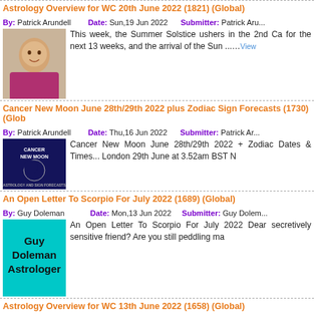Astrology Overview for WC 20th June 2022 (1821) (Global)
By: Patrick Arundell   Date: Sun,19 Jun 2022   Submitter: Patrick Ar...
This week, the Summer Solstice ushers in the 2nd Ca for the next 13 weeks, and the arrival of the Sun ......View
Cancer New Moon June 28th/29th 2022 plus Zodiac Sign Forecasts (1730) (Glob...
By: Patrick Arundell   Date: Thu,16 Jun 2022   Submitter: Patrick Ar...
Cancer New Moon June 28th/29th 2022 + Zodiac Dates & Times... London 29th June at 3.52am BST N
An Open Letter To Scorpio For July 2022 (1689) (Global)
By: Guy Doleman   Date: Mon,13 Jun 2022   Submitter: Guy Dolem...
An Open Letter To Scorpio For July 2022 Dear secretively sensitive friend? Are you still peddling ma
Astrology Overview for WC 13th June 2022 (1658) (Global)
By: Patrick Arundell   Date: Mon,13 Jun 2022   Submitter: Patrick Ar...